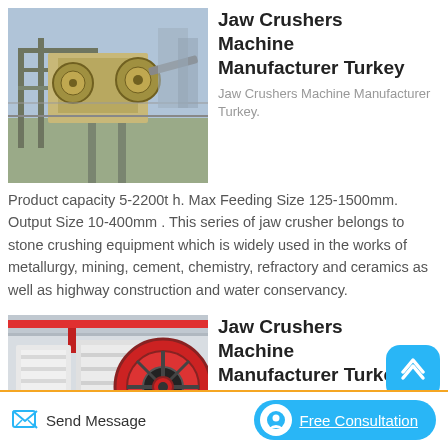[Figure (photo): Outdoor jaw crusher machine installation at a quarry or industrial site, yellowish machinery on an elevated platform structure]
Jaw Crushers Machine Manufacturer Turkey
Jaw Crushers Machine Manufacturer Turkey.
Product capacity 5-2200t h. Max Feeding Size 125-1500mm. Output Size 10-400mm . This series of jaw crusher belongs to stone crushing equipment which is widely used in the works of metallurgy, mining, cement, chemistry, refractory and ceramics as well as highway construction and water conservancy.
[Figure (photo): Indoor jaw crusher machines in a factory, white machinery with prominent red and black circular flywheels]
Jaw Crushers Machine Manufacturer Turkey
Jaw Crusher Manufacturer...